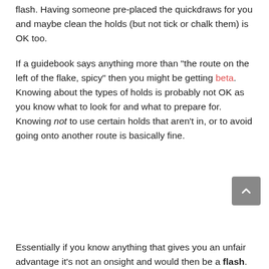flash. Having someone pre-placed the quickdraws for you and maybe clean the holds (but not tick or chalk them) is OK too.
If a guidebook says anything more than "the route on the left of the flake, spicy" then you might be getting beta. Knowing about the types of holds is probably not OK as you know what to look for and what to prepare for. Knowing not to use certain holds that aren't in, or to avoid going onto another route is basically fine.
Essentially if you know anything that gives you an unfair advantage it's not an onsight and would then be a flash.